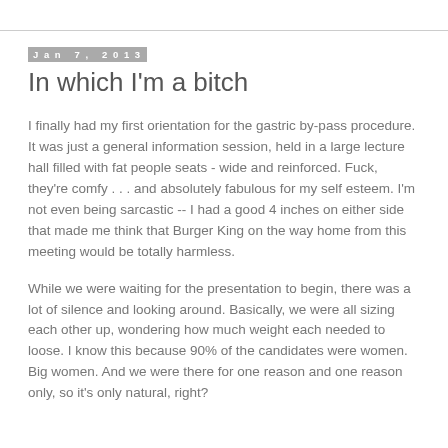Jan 7, 2013
In which I'm a bitch
I finally had my first orientation for the gastric by-pass procedure. It was just a general information session, held in a large lecture hall filled with fat people seats - wide and reinforced. Fuck, they're comfy . . . and absolutely fabulous for my self esteem. I'm not even being sarcastic -- I had a good 4 inches on either side that made me think that Burger King on the way home from this meeting would be totally harmless.
While we were waiting for the presentation to begin, there was a lot of silence and looking around. Basically, we were all sizing each other up, wondering how much weight each needed to loose. I know this because 90% of the candidates were women. Big women. And we were there for one reason and one reason only, so it's only natural, right?